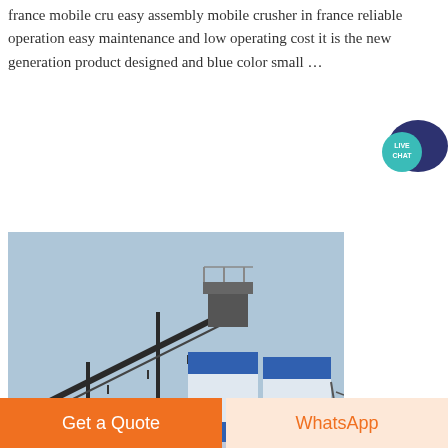france mobile cru easy assembly mobile crusher in france reliable operation easy maintenance and low operating cost it is the new generation product designed and blue color small ...
[Figure (photo): Industrial facility with a conveyor belt structure and two large blue-and-white cylindrical silos, with piles of aggregate material in the background under a clear sky.]
Get a Quote
WhatsApp